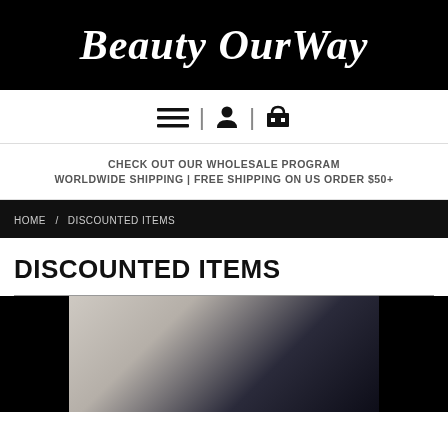Beauty OurWay
Menu | Account | Cart
CHECK OUT OUR WHOLESALE PROGRAM
WORLDWIDE SHIPPING | FREE SHIPPING ON US ORDER $50+
HOME / DISCOUNTED ITEMS
DISCOUNTED ITEMS
[Figure (photo): Product photo partially visible at bottom of page against black background]